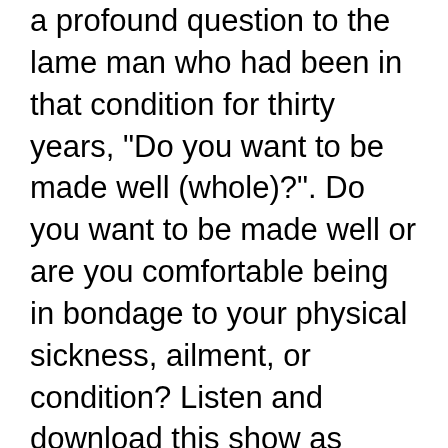a profound question to the lame man who had been in that condition for thirty years, "Do you want to be made well (whole)?". Do you want to be made well or are you comfortable being in bondage to your physical sickness, ailment, or condition? Listen and download this show as Eliakim is joined by Dr. Susan Allison to discuss the true essence of healing.
Are they miracles? The overnight disappearance of a diagnosed cancer nodule in the larynx? Shrinking lesions in the brain? The healing of cervical cancer? The recovery from throat cancer and Hepatitis C? Excruciating pain gone virtually instantly? Peripheral eyesight restored? Blocked arteries cleared? Depression and